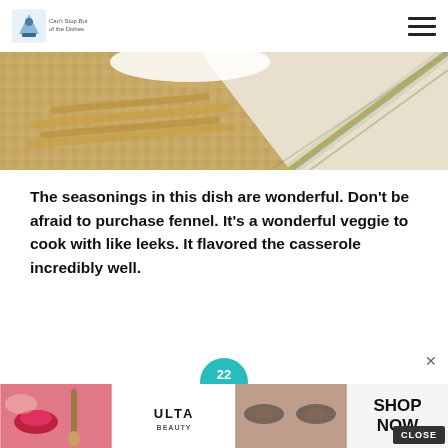Can't Stop But of the Dishes [logo]
[Figure (photo): Close-up of woven place mats and a plaid cloth napkin or tablecloth in white, tan, and green tones]
The seasonings in this dish are wonderful. Don't be afraid to purchase fennel. It's a wonderful veggie to cook with like leeks. It flavored the casserole incredibly well.
[Figure (infographic): Advertisement banner: '22 WORDS' teal circular logo above bold text '37 ITEMS PEOPLE LOVE TO PURCHASE ON AMAZON' with product images, with a close button (x).]
[Figure (photo): Bottom advertisement bar showing makeup products, ULTA Beauty logo, and SHOP NOW text]